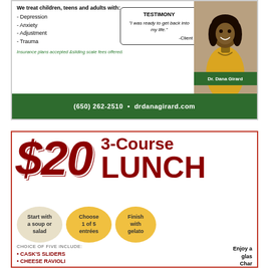[Figure (infographic): Advertisement for Dr. Dana Girard, psychologist. Lists treatment areas (Depression, Anxiety, Adjustment, Trauma), a testimony quote, insurance info, photo of Dr. Girard, and contact info (650) 262-2510, drdanagirard.com]
[Figure (infographic): Restaurant advertisement for $20 3-Course Lunch. Start with soup or salad, choose 1 of 5 entrees, finish with gelato. Choice of five include: Cask's Sliders, Cheese Ravioli, Chicken Piccata. Enjoy a glass of Chardonnay or Cab for only $5.]